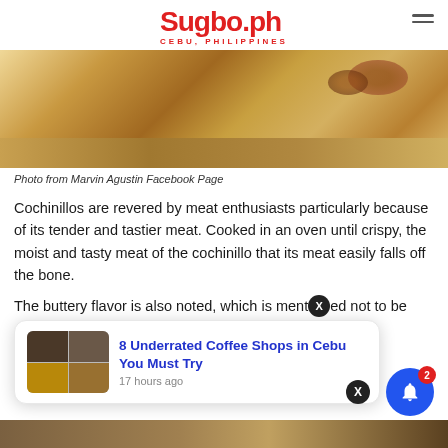Sugbo.ph — CEBU, PHILIPPINES
[Figure (photo): Photo of a cochinillo (roasted suckling pig) on a wooden cutting board]
Photo from Marvin Agustin Facebook Page
Cochinillos are revered by meat enthusiasts particularly because of its tender and tastier meat. Cooked in an oven until crispy, the moist and tasty meat of the cochinillo that its meat easily falls off the bone.
The buttery flavor is also noted, which is mentioned not to be ... quite good ... ing of suka
[Figure (screenshot): Notification popup: '8 Underrated Coffee Shops in Cebu You Must Try' — 17 hours ago, with thumbnail images of coffee shop interiors and food]
[Figure (photo): Bottom partial photo strip of food or restaurant scene]